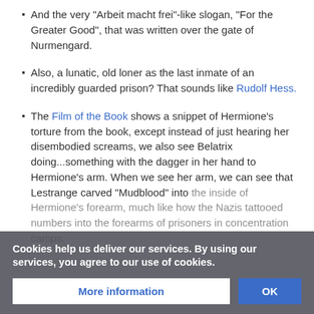And the very "Arbeit macht frei"-like slogan, "For the Greater Good", that was written over the gate of Nurmengard.
Also, a lunatic, old loner as the last inmate of an incredibly guarded prison? That sounds like Rudolf Hess.
The Film of the Book shows a snippet of Hermione's torture from the book, except instead of just hearing her disembodied screams, we also see Belatrix doing...something with the dagger in her hand to Hermione's arm. When we see her arm, we can see that Lestrange carved "Mudblood" into the inside of Hermione's forearm, much like how the Nazis tattooed numbers into the forearms of prisoners in concentration camps.
Cookies help us deliver our services. By using our services, you agree to our use of cookies.